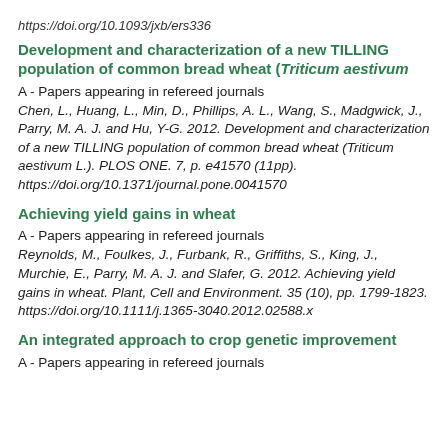https://doi.org/10.1093/jxb/ers336
Development and characterization of a new TILLING population of common bread wheat (Triticum aestivum
A - Papers appearing in refereed journals
Chen, L., Huang, L., Min, D., Phillips, A. L., Wang, S., Madgwick J., Parry, M. A. J. and Hu, Y-G. 2012. Development and characterization of a new TILLING population of common bread wheat (Triticum aestivum L.). PLOS ONE. 7, p. e41570 (11pp). https://doi.org/10.1371/journal.pone.0041570
Achieving yield gains in wheat
A - Papers appearing in refereed journals
Reynolds, M., Foulkes, J., Furbank, R., Griffiths, S., King, J., Murchie, E., Parry, M. A. J. and Slafer, G. 2012. Achieving yield gains in wheat. Plant, Cell and Environment. 35 (10), pp. 1799-1823. https://doi.org/10.1111/j.1365-3040.2012.02588.x
An integrated approach to crop genetic improvement
A - Papers appearing in refereed journals